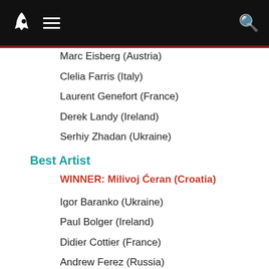Navigation bar with rocket logo, menu icon, and search icon
Marc Eisberg (Austria)
Clelia Farris (Italy)
Laurent Genefort (France)
Derek Landy (Ireland)
Serhiy Zhadan (Ukraine)
Best Artist
WINNER: Milivoj Ćeran (Croatia)
Igor Baranko (Ukraine)
Paul Bolger (Ireland)
Didier Cottier (France)
Andrew Ferez (Russia)
Reinhard Habeck (Austria)
Marc Lähte (Finland)